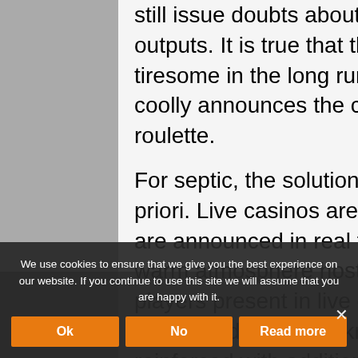still issue doubts about the veracity of the numbers outputs. It is true that the RNG atmosphere can be tiresome in the long run with this lifeless robot that coolly announces the color and the winning number in roulette.
For septic, the solution is all found to play without a priori. Live casinos are made for them with results that are announced in real time and that open access to a warm atmosphere hosted by a dealer and other players present in live chat. The spirit of conviviality is undoubtedly present knowing that the comfort of use is reinforced with additional and complementary options. It is therefore possible to consult the list of hot and cold numbers, the crown of the numbers that serve as statistics, once connected to be able to enter into
We use cookies to ensure that we give you the best experience on our website. If you continue to use this site we will assume that you are happy with it.